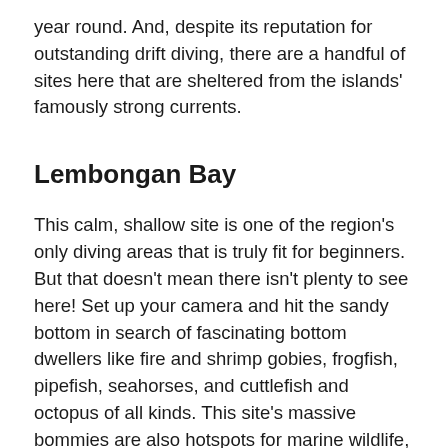year round. And, despite its reputation for outstanding drift diving, there are a handful of sites here that are sheltered from the islands' famously strong currents.
Lembongan Bay
This calm, shallow site is one of the region's only diving areas that is truly fit for beginners. But that doesn't mean there isn't plenty to see here! Set up your camera and hit the sandy bottom in search of fascinating bottom dwellers like fire and shrimp gobies, frogfish, pipefish, seahorses, and cuttlefish and octopus of all kinds. This site's massive bommies are also hotspots for marine wildlife, housing